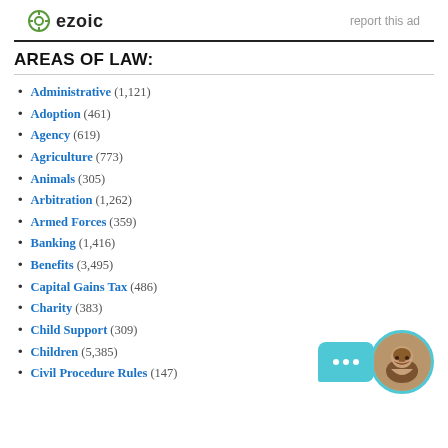ezoic   report this ad
AREAS OF LAW:
Administrative (1,121)
Adoption (461)
Agency (619)
Agriculture (773)
Animals (305)
Arbitration (1,262)
Armed Forces (359)
Banking (1,416)
Benefits (3,495)
Capital Gains Tax (486)
Charity (383)
Child Support (309)
Children (5,385)
Civil Procedure Rules (147)
[Figure (illustration): Chat widget with teal speech bubble containing three dots and a circular avatar photo of a smiling woman with teal border]